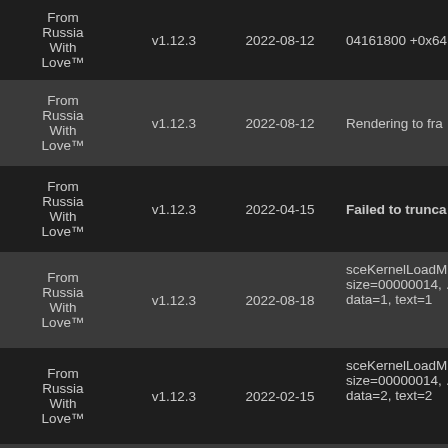| Plugin | Version | Date | Description |
| --- | --- | --- | --- |
| From Russia With Love™ | v1.12.3 | 2022-08-12 | 04161800 +0x64… |
| From Russia With Love™ | v1.12.3 | 2022-08-12 | Rendering to fra… |
| From Russia With Love™ | v1.12.3 | 2022-04-15 | Failed to trunca… |
| From Russia With Love™ | v1.12.3 | 2022-08-18 | sceKernelLoadM… size=00000014, … data=1, text=1 |
| From Russia With Love™ | v1.12.3 | 2022-02-15 | sceKernelLoadM… size=00000014, … data=2, text=2 |
| From Russia With Love™ | v1.12.3 | 2022-02-15 | sceKernelLoadM… size=00000014, … |